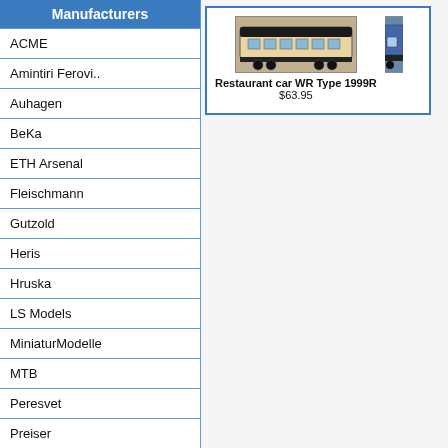Manufacturers
ACME
Amintiri Ferovi..
Auhagen
BeKa
ETH Arsenal
Fleischmann
Gutzold
Heris
Hruska
LS Models
MiniaturModelle
MTB
Peresvet
Preiser
PSK Modelbouw
[Figure (photo): Photo of a model restaurant car WR Type 1999R, beige/cream colored train car]
Restaurant car WR Type 1999R
$63.95